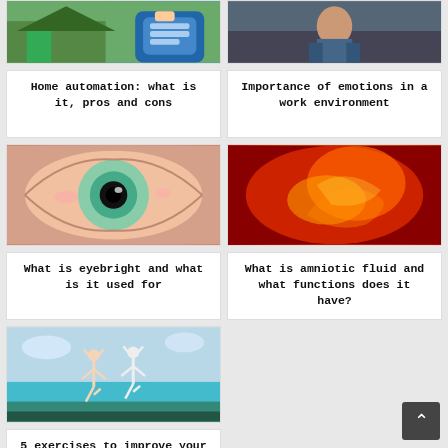[Figure (photo): Hand holding a smartphone with a home automation lock app, house in background]
Home automation: what is it, pros and cons
[Figure (photo): Person sitting on stairs, emotion/work environment theme]
Importance of emotions in a work environment
[Figure (photo): Close-up of a human eye with green iris, reddened sclera]
What is eyebright and what is it used for
[Figure (photo): Abstract red/orange image suggesting amniotic fluid or embryo]
What is amniotic fluid and what functions does it have?
[Figure (photo): Two people doing yoga tree pose on a beach with turquoise water]
5 exercises to improve your balance